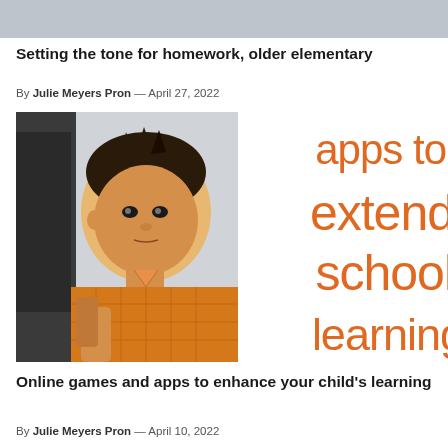[Figure (photo): Top cropped image strip, gray/neutral tones, partial view of content above]
Setting the tone for homework, older elementary
By Julie Meyers Pron — April 27, 2022
[Figure (infographic): Photo of young Asian boy in orange plaid shirt looking at a screen, overlaid with orange text reading 'apps to extend school learning']
Online games and apps to enhance your child's learning
By Julie Meyers Pron — April 10, 2022